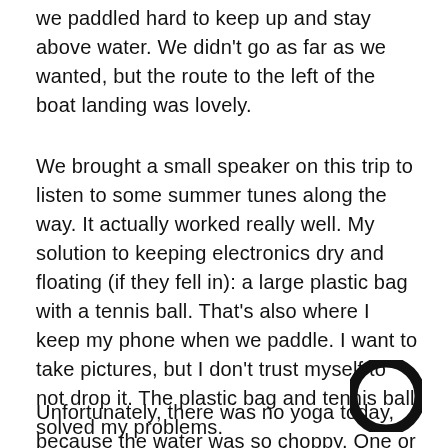we paddled hard to keep up and stay above water. We didn't go as far as we wanted, but the route to the left of the boat landing was lovely.
We brought a small speaker on this trip to listen to some summer tunes along the way. It actually worked really well. My solution to keeping electronics dry and floating (if they fell in): a large plastic bag with a tennis ball. That's also where I keep my phone when we paddle. I want to take pictures, but I don't trust myself to not drop it. The plastic bag and tennis ball solved my problems.
[Figure (logo): Black circle logo/icon in the bottom right area of the page]
Unfortunately, there was no yoga today, because the water was so choppy. One or both of us would